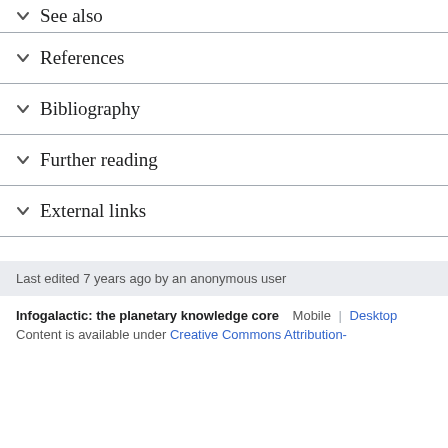See also
References
Bibliography
Further reading
External links
Last edited 7 years ago by an anonymous user
Infogalactic: the planetary knowledge core   Mobile  |  Desktop
Content is available under Creative Commons Attribution-